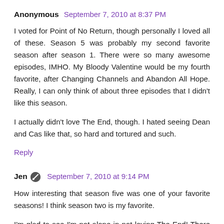Anonymous  September 7, 2010 at 8:37 PM
I voted for Point of No Return, though personally I loved all of these. Season 5 was probably my second favorite season after season 1. There were so many awesome episodes, IMHO. My Bloody Valentine would be my fourth favorite, after Changing Channels and Abandon All Hope. Really, I can only think of about three episodes that I didn't like this season.
I actually didn't love The End, though. I hated seeing Dean and Cas like that, so hard and tortured and such.
Reply
Jen  September 7, 2010 at 9:14 PM
How interesting that season five was one of your favorite seasons! I think season two is my favorite.
I'm glad to see I'm not alone in not loving The End! There was just something that didn't sit right with me.